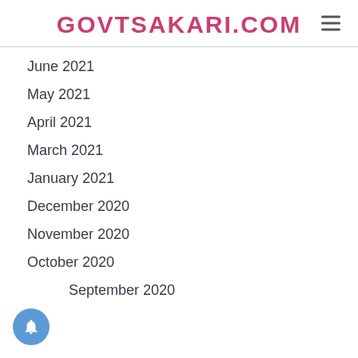GOVTSAKARI.COM
June 2021
May 2021
April 2021
March 2021
January 2021
December 2020
November 2020
October 2020
September 2020